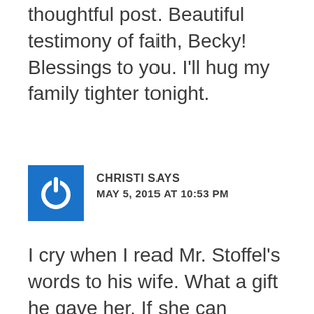thoughtful post. Beautiful testimony of faith, Becky! Blessings to you. I'll hug my family tighter tonight.
CHRISTI SAYS
MAY 5, 2015 AT 10:53 PM
I cry when I read Mr. Stoffel's words to his wife. What a gift he gave her. If she can forgive the shooter, their children , family, friends and some of us can. They won't have to live their life with hatred. They may heal a bit